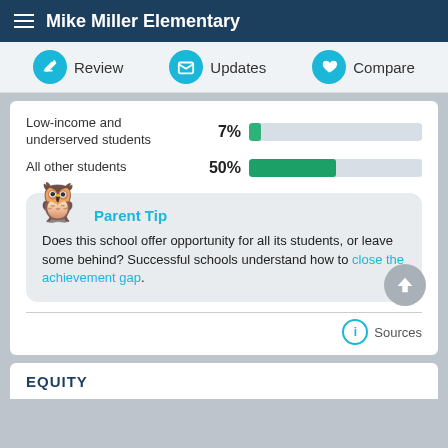Mike Miller Elementary
[Figure (infographic): Navigation bar with three circular icon buttons: Review (pencil), Updates (envelope), Compare (heart)]
[Figure (bar-chart): Test scores by student group]
Parent Tip
Does this school offer opportunity for all its students, or leave some behind? Successful schools understand how to close the achievement gap.
Sources
EQUITY